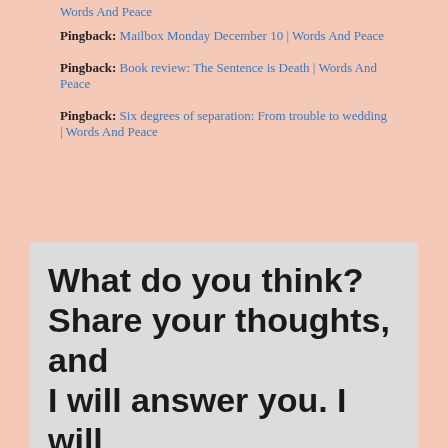Pingback: Mailbox Monday December 10 | Words And Peace
Pingback: Book review: The Sentence is Death | Words And Peace
Pingback: Six degrees of separation: From trouble to wedding | Words And Peace
What do you think? Share your thoughts, and I will answer you. I will also visit your own blog
Your email address will not be published. Required fields are marked *